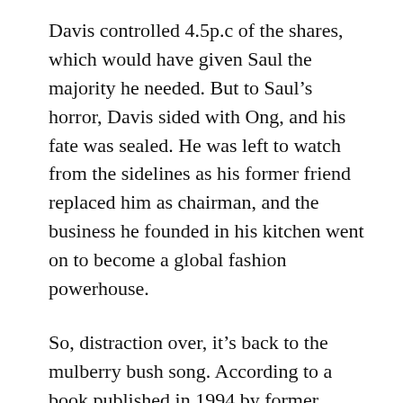Davis controlled 4.5p.c of the shares, which would have given Saul the majority he needed. But to Saul's horror, Davis sided with Ong, and his fate was sealed. He was left to watch from the sidelines as his former friend replaced him as chairman, and the business he founded in his kitchen went on to become a global fashion powerhouse.
So, distraction over, it's back to the mulberry bush song. According to a book published in 1994 by former Wakefield Prison governor Robert Stephen Duncan, female inmates came up with the song to keep their children entertained as they walked around a mulberry tree in the exercise yard. Some killjoys cast